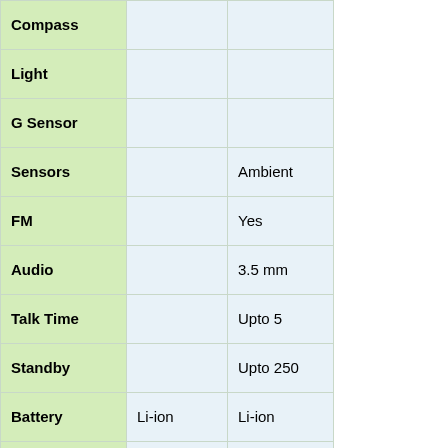| Feature | Col2 | Col3 |
| --- | --- | --- |
| Compass |  |  |
| Light |  |  |
| G Sensor |  |  |
| Sensors |  | Ambient |
| FM |  | Yes |
| Audio |  | 3.5 mm |
| Talk Time |  | Upto 5 |
| Standby |  | Upto 250 |
| Battery | Li-ion | Li-ion |
| Battery |  |  |
| Battery | 1500 mAh | 2000 mAh |
| Battery |  |  |
| Warranty | 1 Year | 1 Year |
| Operating |  | Android |